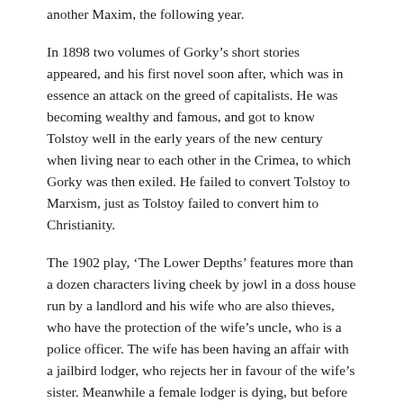another Maxim, the following year.
In 1898 two volumes of Gorky's short stories appeared, and his first novel soon after, which was in essence an attack on the greed of capitalists. He was becoming wealthy and famous, and got to know Tolstoy well in the early years of the new century when living near to each other in the Crimea, to which Gorky was then exiled. He failed to convert Tolstoy to Marxism, just as Tolstoy failed to convert him to Christianity.
The 1902 play, 'The Lower Depths' features more than a dozen characters living cheek by jowl in a doss house run by a landlord and his wife who are also thieves, who have the protection of the wife's uncle, who is a police officer. The wife has been having an affair with a jailbird lodger, who rejects her in favour of the wife's sister. Meanwhile a female lodger is dying, but before she dies blames her illness on beatings from her unfeeling husband, who also lives in the house. Another lodger, a widow, says about marriage that 'it's like jumping through a hole in the ice for us poor women'. Yet another character, a wanderer, has been teaching the dying